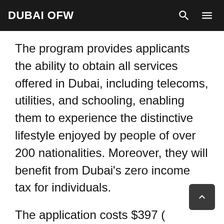DUBAI OFW
The program provides applicants the ability to obtain all services offered in Dubai, including telecoms, utilities, and schooling, enabling them to experience the distinctive lifestyle enjoyed by people of over 200 nationalities. Moreover, they will benefit from Dubai's zero income tax for individuals.
The application costs $397 (